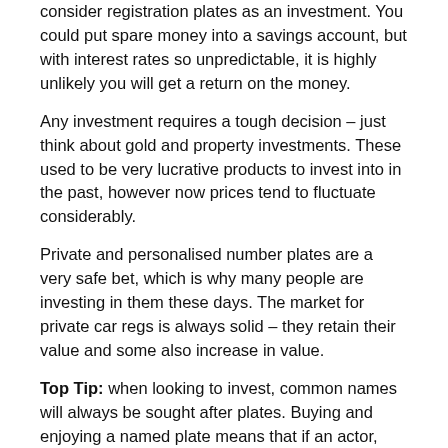consider registration plates as an investment. You could put spare money into a savings account, but with interest rates so unpredictable, it is highly unlikely you will get a return on the money.
Any investment requires a tough decision – just think about gold and property investments. These used to be very lucrative products to invest into in the past, however now prices tend to fluctuate considerably.
Private and personalised number plates are a very safe bet, which is why many people are investing in them these days. The market for private car regs is always solid – they retain their value and some also increase in value.
Top Tip: when looking to invest, common names will always be sought after plates. Buying and enjoying a named plate means that if an actor, sports player or another public personality comes into the limelight, imagine how much you will be able to save the plate for? For example, can you imagine the value connected with 'Mr H Potter' if he had bought a plate before the Harry Potter phenomenon hit the world.
If you already own a private plate and you want to know its